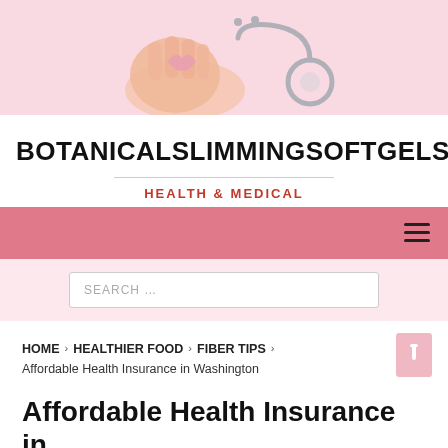[Figure (photo): A hand holding a pink ribbon cancer awareness symbol with a stethoscope on a pink background]
BOTANICALSLIMMINGSOFTGELSELL
HEALTH & MEDICAL
[Figure (other): Pink navigation bar with hamburger menu icon on the right]
[Figure (other): Search bar with placeholder text SEARCH ...]
HOME › HEALTHIER FOOD › FIBER TIPS › Affordable Health Insurance in Washington
Affordable Health Insurance in